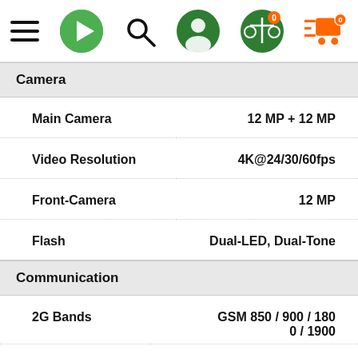[Figure (screenshot): Mobile e-commerce app navigation bar with hamburger menu, green play button, search icon, user profile icon, balance icon with 0, and orange cart icon with 0]
Camera
| Spec | Value |
| --- | --- |
| Main Camera | 12 MP + 12 MP |
| Video Resolution | 4K@24/30/60fps |
| Front-Camera | 12 MP |
| Flash | Dual-LED, Dual-Tone |
Communication
| Spec | Value |
| --- | --- |
| 2G Bands | GSM 850 / 900 / 1800 / 1900 |